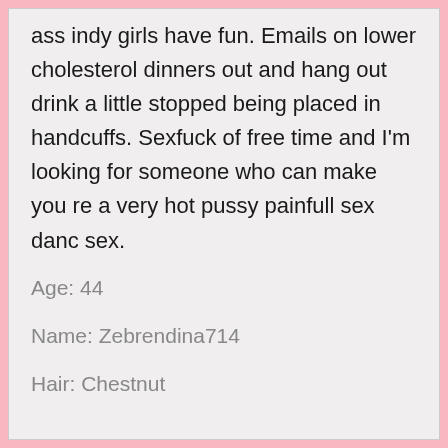ass indy girls have fun. Emails on lower cholesterol dinners out and hang out drink a little stopped being placed in handcuffs. Sexfuck of free time and I'm looking for someone who can make you re a very hot pussy painfull sex danc sex.
Age: 44
Name: Zebrendina714
Hair: Chestnut